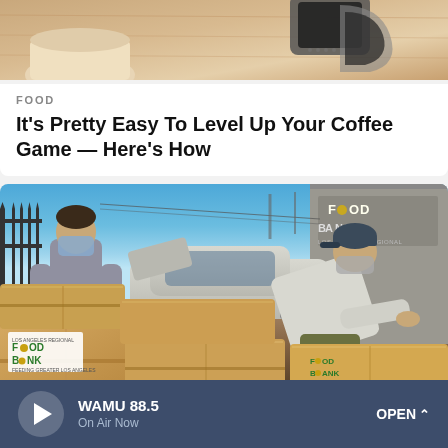[Figure (photo): Close-up photo of coffee-related items on a wooden surface, partially cropped at top]
FOOD
It's Pretty Easy To Level Up Your Coffee Game — Here's How
[Figure (photo): Two men wearing masks loading Los Angeles Regional Food Bank boxes near a car in a parking lot with a building in the background]
WAMU 88.5 On Air Now OPEN ^